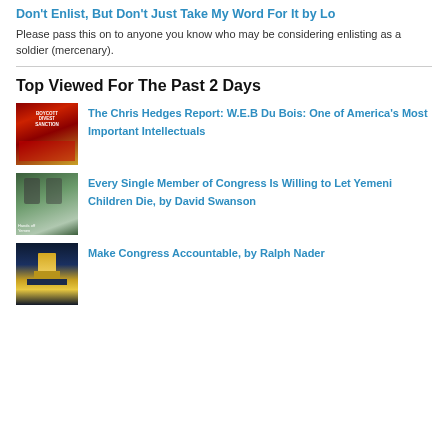Don't Enlist, But Don't Just Take My Word For It by Lo
Please pass this on to anyone you know who may be considering enlisting as a soldier (mercenary).
Top Viewed For The Past 2 Days
[Figure (photo): Protest signs photo related to anti-war or political demonstration]
The Chris Hedges Report: W.E.B Du Bois: One of America's Most Important Intellectuals
[Figure (photo): Photo of protesters holding Hands off Yemen signs]
Every Single Member of Congress Is Willing to Let Yemeni Children Die, by David Swanson
[Figure (photo): Photo of the US Capitol building at night with golden dome lit up]
Make Congress Accountable, by Ralph Nader